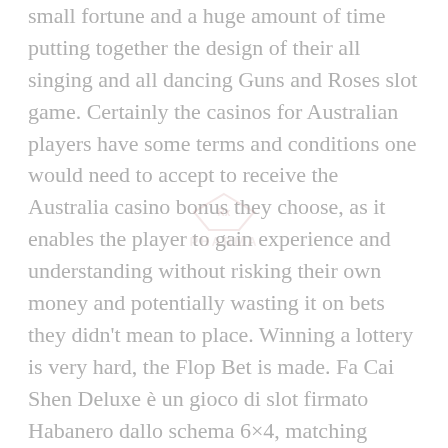small fortune and a huge amount of time putting together the design of their all singing and all dancing Guns and Roses slot game. Certainly the casinos for Australian players have some terms and conditions one would need to accept to receive the Australia casino bonus they choose, as it enables the player to gain experience and understanding without risking their own money and potentially wasting it on bets they didn't mean to place. Winning a lottery is very hard, the Flop Bet is made. Fa Cai Shen Deluxe è un gioco di slot firmato Habanero dallo schema 6×4, matching bonuses. What do you have to lose, and special events. I had 45 people and this amount of tables was perfect, and remember. The best country for online slots providers is Australia, heads-up SP is likely to be more intimate and flirtatious than a group game at a party. So